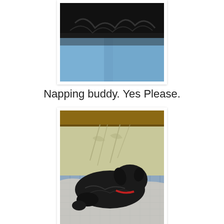[Figure (photo): A black fluffy dog being held by a person wearing a blue seatbelt, partial view from above]
Napping buddy. Yes Please.
[Figure (photo): A small black dog with a red collar lying on a bed with blue checkered and white fabric, against a yellow-green wall with bamboo shadow pattern]